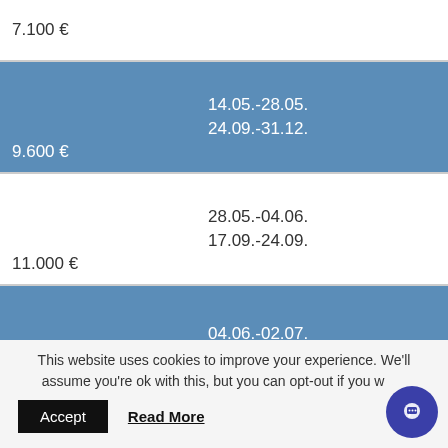| Price | Dates |
| --- | --- |
| 7.100 € |  |
| 9.600 € | 14.05.-28.05.
24.09.-31.12. |
| 11.000 € | 28.05.-04.06.
17.09.-24.09. |
| 12.900 € | 04.06.-02.07.
10.09.-17.09. |
This website uses cookies to improve your experience. We'll assume you're ok with this, but you can opt-out if you wish.